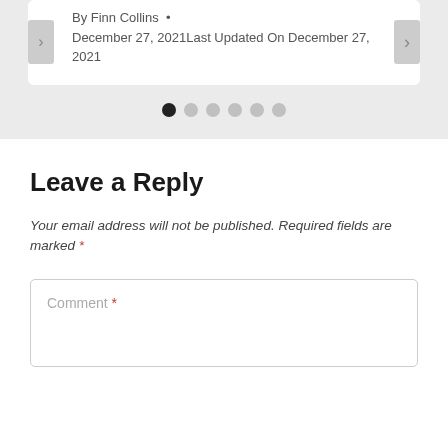By Finn Collins • December 27, 2021Last Updated On December 27, 2021
[Figure (other): Carousel navigation dots: 6 dots with the first one filled/active (black) and the rest grey]
Leave a Reply
Your email address will not be published. Required fields are marked *
Comment *